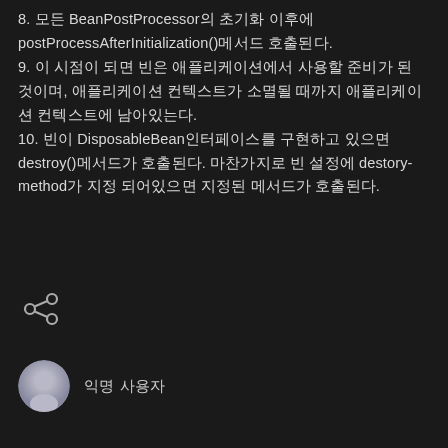8. 모든 BeanPostProcessor의 초기화 이후에 postProcessAfterInitialization()메서드 호출된다.
9. 이 시점이 되면 빈은 애플리케이션에서 사용할 준비가 된 것이며, 애플리케이션 컨텍스트가 소멸될 때까지 애플리케이션 컨텍스트에 남아있는다.
10. 빈이 DisposableBean인터페이스를 구현하고 있으면 destroy()메서드가 호출된다. 마찬가지로 빈 설정에 destory-method가 지정 되어있으면 지정된 메서드가 호출된다.
[Figure (illustration): Share icon (three connected dots forming a share symbol) in light gray on dark background]
익명 사용자